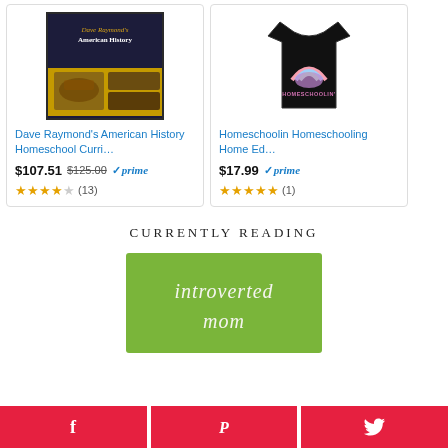[Figure (screenshot): Amazon product card: Dave Raymond's American History Homeschool Curri... showing book cover, price $107.51 (was $125.00), Prime badge, 3.5 stars (13 reviews)]
[Figure (screenshot): Amazon product card: Homeschoolin Homeschooling Home Ed... showing black t-shirt with rainbow design, price $17.99, Prime badge, 5 stars (1 review)]
CURRENTLY READING
[Figure (photo): Book cover of 'introverted mom' with green background and white italic text]
[Figure (screenshot): Social share buttons: Facebook (f), Pinterest (P), Twitter (bird icon) in red]